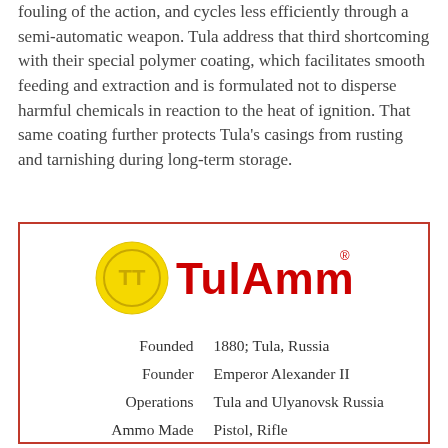fouling of the action, and cycles less efficiently through a semi-automatic weapon. Tula address that third shortcoming with their special polymer coating, which facilitates smooth feeding and extraction and is formulated not to disperse harmful chemicals in reaction to the heat of ignition. That same coating further protects Tula's casings from rusting and tarnishing during long-term storage.
[Figure (logo): TulAmmo logo: yellow circular emblem with stylized TT monogram on left, red bold text reading TULAMMO with registered trademark symbol]
| Founded | 1880; Tula, Russia |
| Founder | Emperor Alexander II |
| Operations | Tula and Ulyanovsk Russia |
| Ammo Made | Pistol, Rifle |